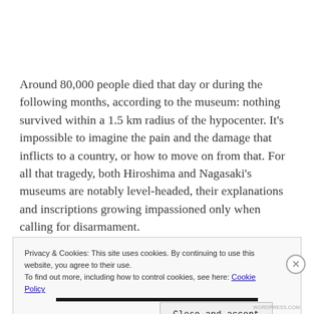Around 80,000 people died that day or during the following months, according to the museum: nothing survived within a 1.5 km radius of the hypocenter. It's impossible to imagine the pain and the damage that inflicts to a country, or how to move on from that. For all that tragedy, both Hiroshima and Nagasaki's museums are notably level-headed, their explanations and inscriptions growing impassioned only when calling for disarmament.
Privacy & Cookies: This site uses cookies. By continuing to use this website, you agree to their use. To find out more, including how to control cookies, see here: Cookie Policy
Close and accept